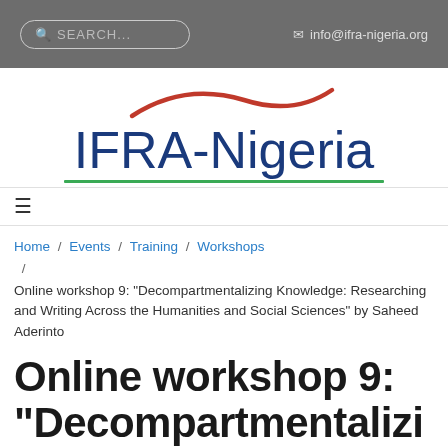SEARCH... | info@ifra-nigeria.org
[Figure (logo): IFRA-Nigeria logo with red swoosh above text and green underline]
≡
Home / Events / Training / Workshops / Online workshop 9: "Decompartmentalizing Knowledge: Researching and Writing Across the Humanities and Social Sciences" by Saheed Aderinto
Online workshop 9: "Decompartmentaliz